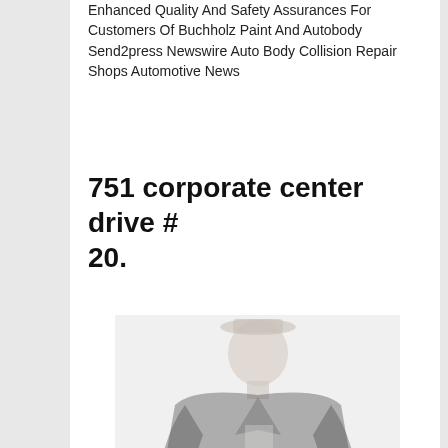Enhanced Quality And Safety Assurances For Customers Of Buchholz Paint And Autobody Send2press Newswire Auto Body Collision Repair Shops Automotive News
751 corporate center drive # 20.
[Figure (photo): A faded/watermarked photo of a person wearing a dark uniform or jacket, standing with hands at sides, shown from approximately waist up.]